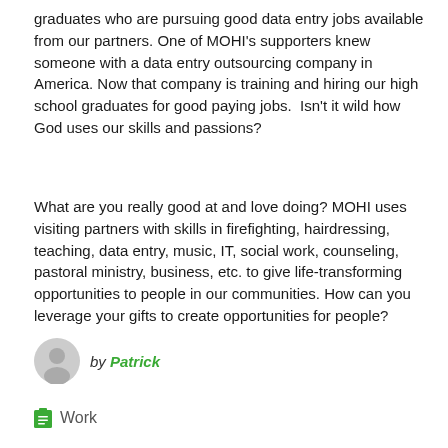graduates who are pursuing good data entry jobs available from our partners. One of MOHI's supporters knew someone with a data entry outsourcing company in America. Now that company is training and hiring our high school graduates for good paying jobs.  Isn't it wild how God uses our skills and passions?
What are you really good at and love doing? MOHI uses visiting partners with skills in firefighting, hairdressing, teaching, data entry, music, IT, social work, counseling, pastoral ministry, business, etc. to give life-transforming opportunities to people in our communities. How can you leverage your gifts to create opportunities for people?
by Patrick
Work